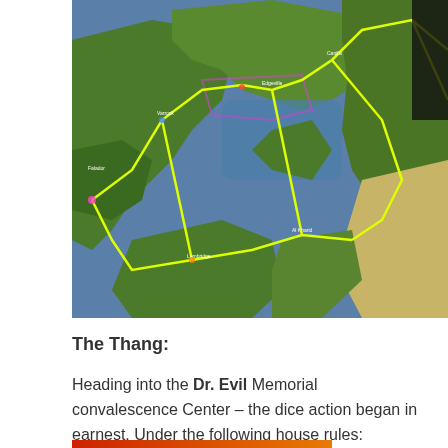[Figure (map): A colorful game world map (appears to be RuneScape or similar MMORPG) with yellow route lines overlaid showing a path between various locations. The map shows landmasses in greens and browns surrounded by blue water.]
The Thang:
Heading into the Dr. Evil Memorial convalescence Center – the dice action began in earnest.  Under the following house rules: